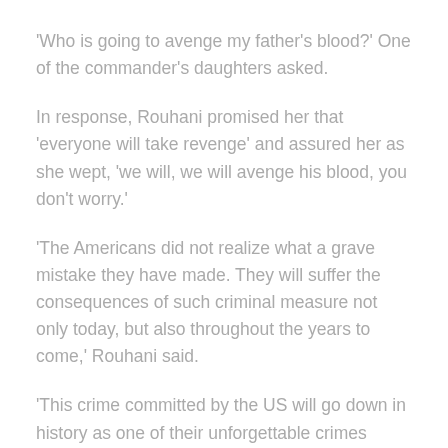'Who is going to avenge my father's blood?' One of the commander's daughters asked.
In response, Rouhani promised her that 'everyone will take revenge' and assured her as she wept, 'we will, we will avenge his blood, you don't worry.'
'The Americans did not realize what a grave mistake they have made. They will suffer the consequences of such criminal measure not only today, but also throughout the years to come,' Rouhani said.
'This crime committed by the US will go down in history as one of their unforgettable crimes against the Iranian nation.'
Soleimani, 62, was killed in the early hours of Friday, local time, outside Baghdad's International Airport in an